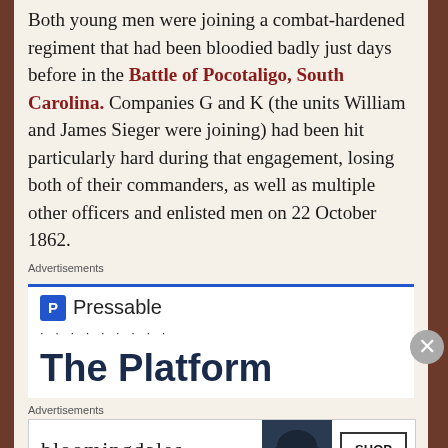Both young men were joining a combat-hardened regiment that had been bloodied badly just days before in the Battle of Pocotaligo, South Carolina. Companies G and K (the units William and James Sieger were joining) had been hit particularly hard during that engagement, losing both of their commanders, as well as multiple other officers and enlisted men on 22 October 1862.
Advertisements
[Figure (other): Pressable advertisement with 'The Platform' text and blue header bar]
Advertisements
[Figure (other): Bloomingdale's advertisement with hat image and 'SHOP NOW >' button and 'View Today's Top Deals!' text]